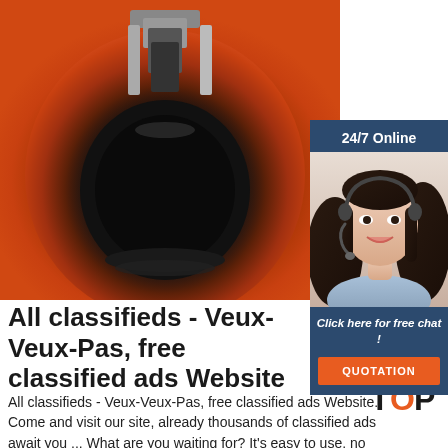[Figure (photo): Close-up photo of a mechanical part — dark metal component (appears to be a brake drum or cylinder bore) surrounded by orange-red rust-colored material, with a metal fitting visible at top center.]
[Figure (infographic): Advertisement banner: '24/7 Online' header in dark blue, photo of smiling woman with headset, italic text 'Click here for free chat !', orange button labeled 'QUOTATION'.]
All classifieds - Veux-Veux-Pas, free classified ads Website
[Figure (logo): Orange and dark 'TOP' logo with orange dots/stars above the text]
All classifieds - Veux-Veux-Pas, free classified ads Website. Come and visit our site, already thousands of classified ads await you ... What are you waiting for? It's easy to use, no lengthy sign-ups, and 100% free! If you have many products or ads, create your own online store